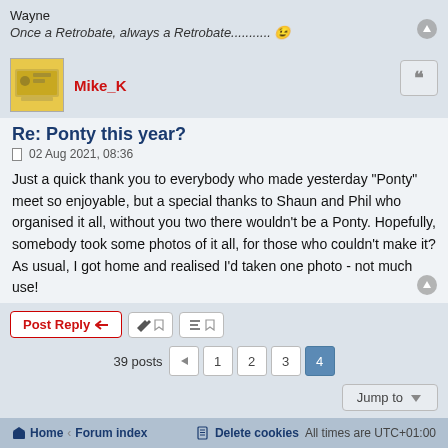Wayne
Once a Retrobate, always a Retrobate........... 😉
Mike_K
Re: Ponty this year?
02 Aug 2021, 08:36
Just a quick thank you to everybody who made yesterday "Ponty" meet so enjoyable, but a special thanks to Shaun and Phil who organised it all, without you two there wouldn't be a Ponty. Hopefully, somebody took some photos of it all, for those who couldn't make it? As usual, I got home and realised I'd taken one photo - not much use!
Post Reply
39 posts  1 2 3 4
Jump to
Home · Forum index    Delete cookies   All times are UTC+01:00